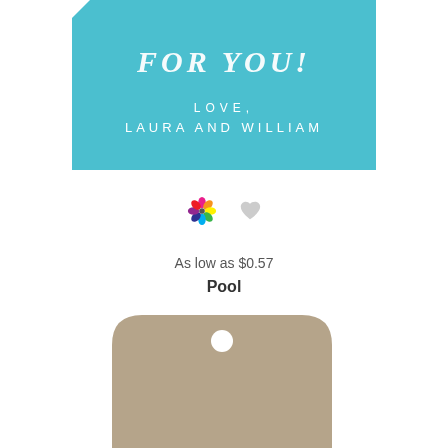[Figure (illustration): Turquoise/teal gift tag with white text reading 'FOR YOU!' in decorative serif font and below 'LOVE, LAURA AND WILLIAM' in spaced uppercase letters. Tag has a notched upper-left corner.]
[Figure (illustration): Two icons: a colorful pinwheel/color picker icon (magenta, yellow, cyan petals) and a gray heart icon, side by side.]
As low as $0.57
Pool
[Figure (illustration): Tan/kraft colored gift tag shape with rounded bottom, notched upper corners, a white hole at top, and decorative script monogram 'EHS' in ivory/cream color in the lower portion.]